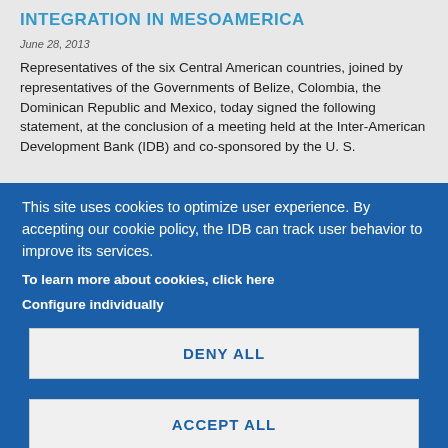INTEGRATION IN MESOAMERICA
June 28, 2013
Representatives of the six Central American countries, joined by representatives of the Governments of Belize, Colombia, the Dominican Republic and Mexico, today signed the following statement, at the conclusion of a meeting held at the Inter-American Development Bank (IDB) and co-sponsored by the U. S.
This site uses cookies to optimize user experience. By accepting our cookie policy, the IDB can track user behavior to improve its services.
To learn more about cookies, click here
Configure individually
DENY ALL
ACCEPT ALL